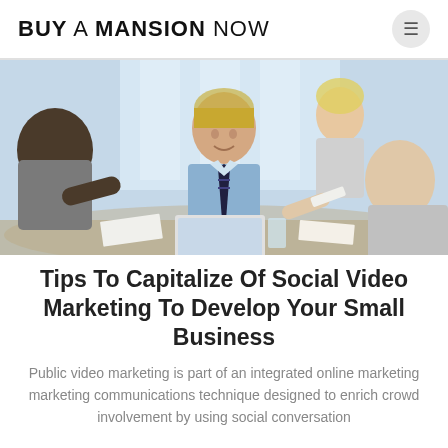BUY A MANSION NOW
[Figure (photo): Business people at a meeting table — a man in a blue shirt and tie facing the camera, shaking hands or exchanging documents, with other colleagues around a conference table in a bright office]
Tips To Capitalize Of Social Video Marketing To Develop Your Small Business
Public video marketing is part of an integrated online marketing marketing communications technique designed to enrich crowd involvement by using social conversation